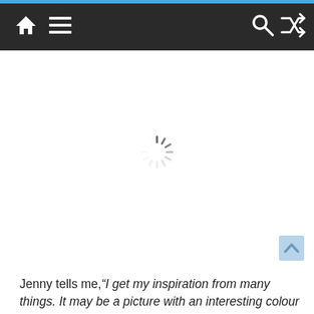Navigation bar with home icon, menu icon, search icon, shuffle icon
[Figure (other): Loading spinner (circular dashed spinner icon) centered in a white content area]
Jenny tells me,“I get my inspiration from many things. It may be a picture with an interesting colour